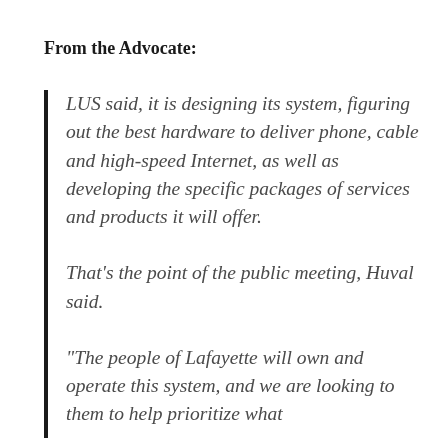From the Advocate:
LUS said, it is designing its system, figuring out the best hardware to deliver phone, cable and high-speed Internet, as well as developing the specific packages of services and products it will offer.

That’s the point of the public meeting, Huval said.

“The people of Lafayette will own and operate this system, and we are looking to them to help prioritize what